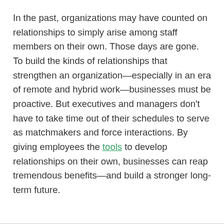In the past, organizations may have counted on relationships to simply arise among staff members on their own. Those days are gone. To build the kinds of relationships that strengthen an organization—especially in an era of remote and hybrid work—businesses must be proactive. But executives and managers don't have to take time out of their schedules to serve as matchmakers and force interactions. By giving employees the tools to develop relationships on their own, businesses can reap tremendous benefits—and build a stronger long-term future.
Source link